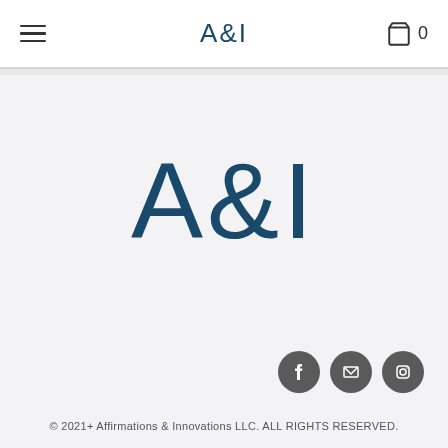A&I
[Figure (logo): Large A&I text logo centered in main content area, dark teal/navy color on light grey background]
[Figure (other): Social media icons: Facebook, Email, Instagram — three dark grey circular icons in bottom right]
© 2021+ Affirmations & Innovations LLC. ALL RIGHTS RESERVED.